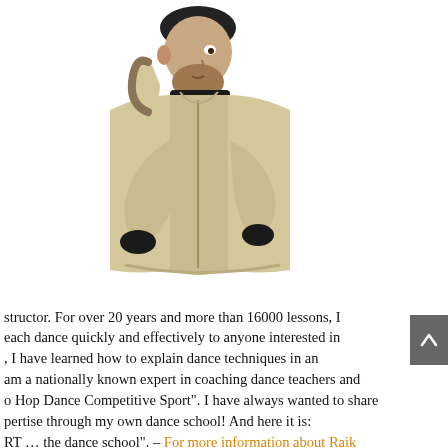[Figure (photo): A man wearing a black beanie hat and a beige/khaki large parka jacket with fur-trimmed hood, shown from the side/back looking over his shoulder, against a white background.]
structor.  For over 20 years and more than 16000 lessons, I each dance quickly and effectively to anyone interested in , I have learned how to explain dance techniques in an am a nationally known expert in coaching dance teachers and o Hop Dance Competitive Sport".  I have always wanted to share pertise through my own dance school! And here it is: RT … the dance school". – For more information about Raik